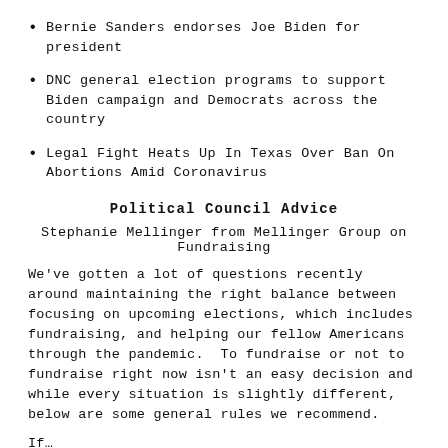Bernie Sanders endorses Joe Biden for president
DNC general election programs to support Biden campaign and Democrats across the country
Legal Fight Heats Up In Texas Over Ban On Abortions Amid Coronavirus
Political Council Advice
Stephanie Mellinger from Mellinger Group on Fundraising
We've gotten a lot of questions recently around maintaining the right balance between focusing on upcoming elections, which includes fundraising, and helping our fellow Americans through the pandemic. To fundraise or not to fundraise right now isn't an easy decision and while every situation is slightly different, below are some general rules we recommend.
If…
Your election isn't this year. Now isn't the time to ask for money. Instead, this is an opportunity to connect or re-connect